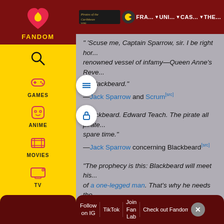Fandom navigation sidebar with categories: FANDOM, GAMES, ANIME, MOVIES, TV, VIDEO
Pirates of the Caribbean wiki top navigation: PAC..., FRA..., UNI..., CAS..., THE...
" 'Scuse me, Captain Sparrow, sir. I be right honoured to serve aboard this most renowned vessel of infamy—Queen Anne's Reve... "...Blackbeard." —Jack Sparrow and Scrum[src]
"Blackbeard. Edward Teach. The pirate all pirate... spare time." —Jack Sparrow concerning Blackbeard[src]
"The prophecy is this: Blackbeard will meet his... of a one-legged man. That's why he needs the... —Angelica to Jack Sparrow[src]
Follow on IG | TikTok | Join Fan Lab | Check out Fandom Quizzes and cha...